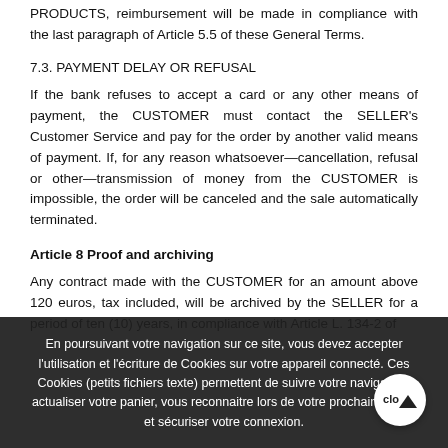PRODUCTS, reimbursement will be made in compliance with the last paragraph of Article 5.5 of these General Terms.
7.3. PAYMENT DELAY OR REFUSAL
If the bank refuses to accept a card or any other means of payment, the CUSTOMER must contact the SELLER's Customer Service and pay for the order by another valid means of payment. If, for any reason whatsoever—cancellation, refusal or other—transmission of money from the CUSTOMER is impossible, the order will be canceled and the sale automatically terminated.
Article 8 Proof and archiving
Any contract made with the CUSTOMER for an amount above 120 euros, tax included, will be archived by the SELLER for a period of ten (10) years, in compliance with Article L. 134-2 of
En poursuivant votre navigation sur ce site, vous devez accepter l'utilisation et l'écriture de Cookies sur votre appareil connecté. Ces Cookies (petits fichiers texte) permettent de suivre votre navigation, actualiser votre panier, vous reconnaitre lors de votre prochaine visite et sécuriser votre connexion.